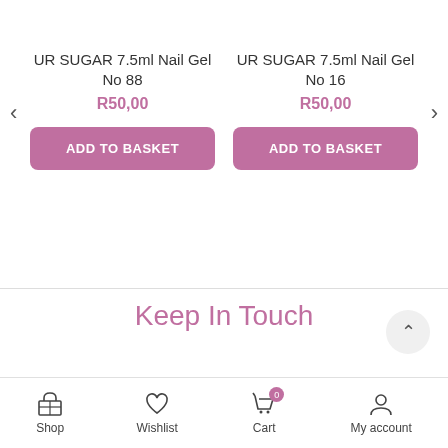UR SUGAR 7.5ml Nail Gel No 88
R50,00
ADD TO BASKET
UR SUGAR 7.5ml Nail Gel No 16
R50,00
ADD TO BASKET
Keep In Touch
[Figure (infographic): Social media icons row: Facebook, Instagram, Pinterest, WhatsApp, Email]
Shop | Wishlist | Cart (0) | My account